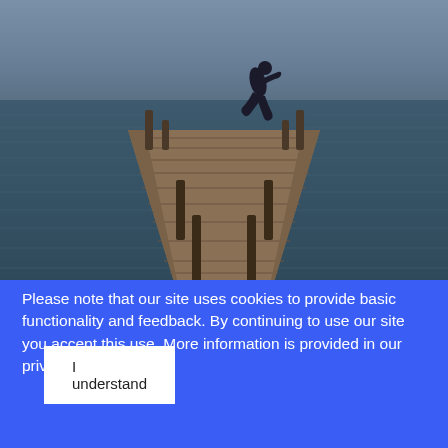[Figure (photo): A person jumping/leaping at the end of a wooden pier or dock extending into a grey, overcast sea or lake. The pier has wooden planks and posts on both sides, photographed from a low angle creating strong perspective lines leading to the water. The image has a moody, blue-grey tone.]
Please note that our site uses cookies to provide basic functionality and feedback. By continuing to use our site you accept this use. More information is provided in our privacy page.
I understand